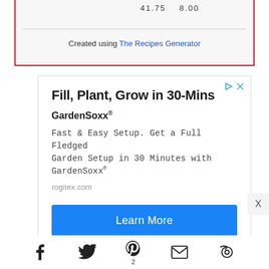Created using The Recipes Generator
[Figure (screenshot): Advertisement for GardenSoxx - Fill, Plant, Grow in 30-Mins. GardenSoxx® Fast & Easy Setup. Get a Full Fledged Garden Setup in 30 Minutes with GardenSoxx®. rogitex.com. Learn More button.]
[Figure (infographic): Social share bar with Facebook, Twitter, Pinterest (count 2), Email, and camera/reload icon]